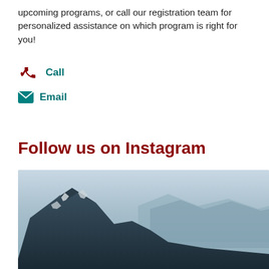upcoming programs, or call our registration team for personalized assistance on which program is right for you!
Call
Email
Follow us on Instagram
ncascades
[Figure (photo): Mountain landscape with snow-capped peaks and misty background mountains]